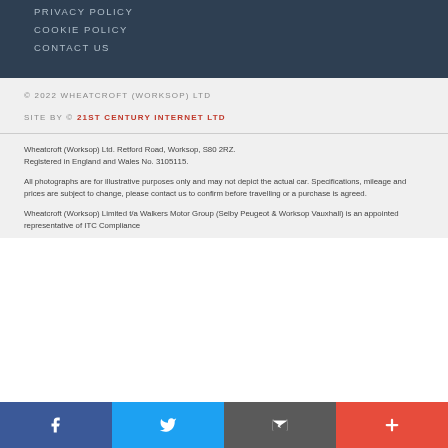PRIVACY POLICY
COOKIE POLICY
CONTACT US
© 2022 WHEATCROFT (WORKSOP) LTD
SITE BY © 21ST CENTURY INTERNET LTD
Wheatcroft (Worksop) Ltd. Retford Road, Worksop, S80 2RZ. Registered in England and Wales No. 3105115.
All photographs are for illustrative purposes only and may not depict the actual car. Specifications, mileage and prices are subject to change, please contact us to confirm before travelling or a purchase is agreed.
Wheatcroft (Worksop) Limited t/a Walkers Motor Group (Selby Peugeot & Worksop Vauxhall) is an appointed representative of ITC Compliance
We use cookies to support your experience on our site. By continuing to use our site you agree to our use of cookies. Find out more
[Figure (infographic): Social media bar with four buttons: Facebook (blue), Twitter (light blue), Email/message (grey), Plus (red-orange)]